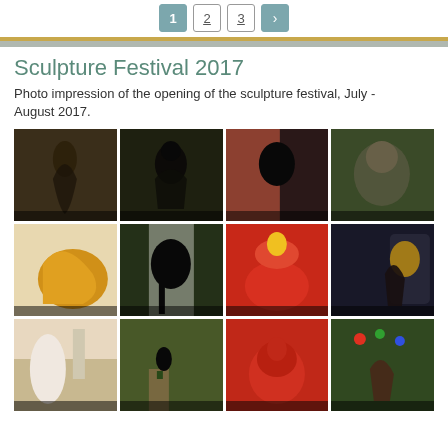1  2  3  >
Sculpture Festival 2017
Photo impression of the opening of the sculpture festival, July - August 2017.
[Figure (photo): Grid of 12 sculpture festival photos showing various sculptures including figures, birds, an owl, golden hand sculpture, person with crow, red abstract sculpture, dark interior scene, white figure, bottle on wood, red bird-like sculpture, and garden scene with figures]